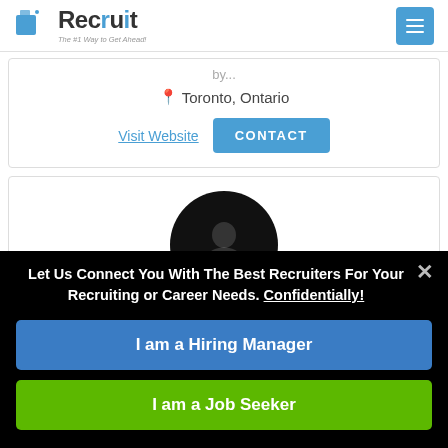Recruit — The #1 Way to Get Ahead!
Toronto, Ontario
Visit Website   CONTACT
[Figure (photo): User avatar: dark circular profile photo, partially visible at bottom of card]
Let Us Connect You With The Best Recruiters For Your Recruiting or Career Needs. Confidentially!
I am a Hiring Manager
I am a Job Seeker